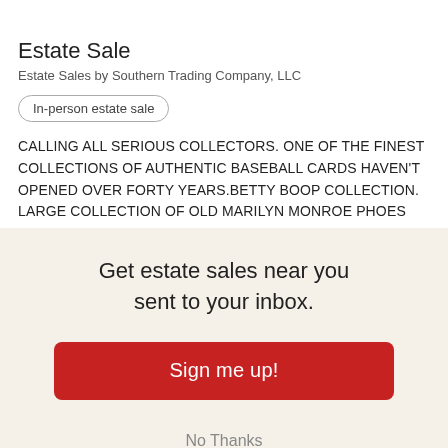[Figure (photo): Partial photo strip visible at the top of the page, appears to show collectibles or estate sale items, cropped.]
Estate Sale
Estate Sales by Southern Trading Company, LLC
In-person estate sale
CALLING ALL SERIOUS COLLECTORS. ONE OF THE FINEST COLLECTIONS OF AUTHENTIC BASEBALL CARDS HAVEN'T OPENED OVER FORTY YEARS.BETTY BOOP COLLECTION. LARGE COLLECTION OF OLD MARILYN MONROE PHOES PAINTINGS AWESOME FROM A PRIVATE COLLECTION. A
Get estate sales near you sent to your inbox.
Sign me up!
No Thanks